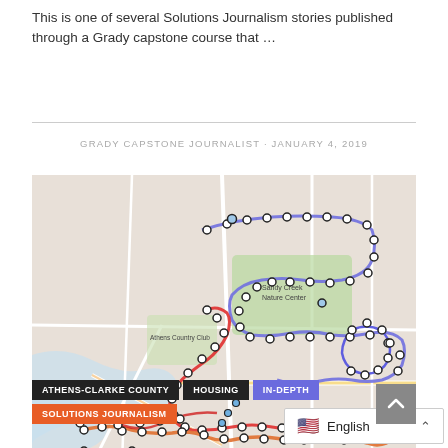This is one of several Solutions Journalism stories published through a Grady capstone course that …
GRADY CAPSTONE JOURNALIST · JANUARY 4, 2019
[Figure (map): A street map of Athens, Georgia area showing multiple bus route overlays in different colors (red, orange, blue, purple) with circular stop markers along each route. Landmarks include Sandy Creek Nature Center, Athens Country Club, and University of Georgia.]
ATHENS-CLARKE COUNTY
HOUSING
IN-DEPTH
SOLUTIONS JOURNALISM
English